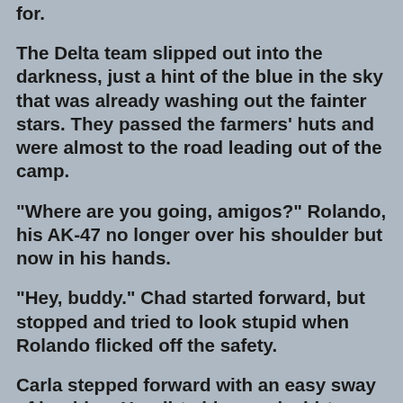for.
The Delta team slipped out into the darkness, just a hint of the blue in the sky that was already washing out the fainter stars. They passed the farmers' huts and were almost to the road leading out of the camp.
“Where are you going, amigos?” Rolando, his AK-47 no longer over his shoulder but now in his hands.
“Hey, buddy.” Chad started forward, but stopped and tried to look stupid when Rolando flicked off the safety.
Carla stepped forward with an easy sway of her hips. Her dirty blue work shirt unbuttoned far enough to reveal that her assets weren’t all that much less impressive than the fabled Mayra’s